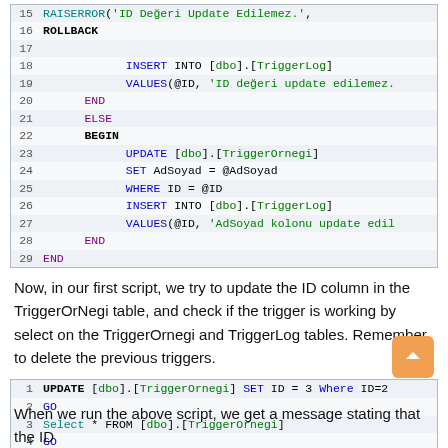[Figure (screenshot): SQL code block lines 15-29 showing RAISERROR, ROLLBACK, INSERT INTO, UPDATE, SET, WHERE, END, ELSE, BEGIN statements with syntax highlighting]
Now, in our first script, we try to update the ID column in the TriggerOrNegi table, and check if the trigger is working by select on the TriggerOrnegi and TriggerLog tables. Remember to delete the previous triggers.
[Figure (screenshot): SQL code block lines 1-5 showing UPDATE TriggerOrnegi SET ID=3 Where ID=2, GO, Select * FROM TriggerOrnegi, GO, Select * FROM TriggerLog]
When we run the above script, we get a message stating that the ID